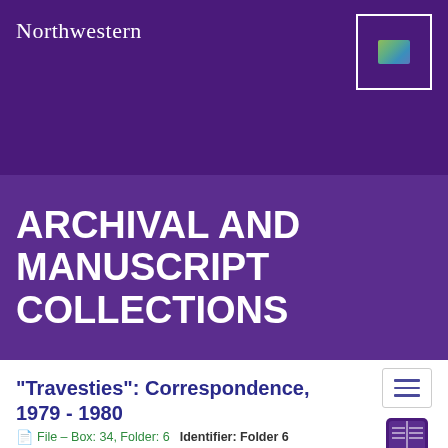Northwestern
ARCHIVAL AND MANUSCRIPT COLLECTIONS
"Travesties": Correspondence, 1979 - 1980
File — Box: 34, Folder: 6    Identifier: Folder 6